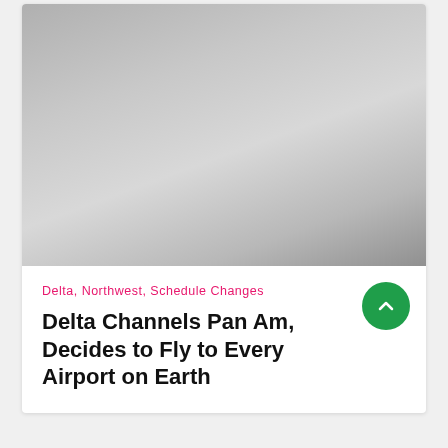[Figure (photo): Gray gradient placeholder image area filling the top portion of a card]
Delta, Northwest, Schedule Changes
Delta Channels Pan Am, Decides to Fly to Every Airport on Earth